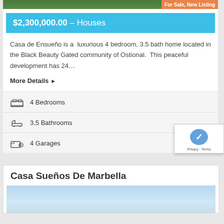[Figure (photo): Top portion of property photo with green foliage and For Sale, New Listing badge]
$2,300,000.00 – Houses
Casa de Ensueño is a  luxurious 4 bedroom, 3.5 bath home located in the Black Beauty Gated community of Ostional.  This peaceful development has 24…
More Details ▶
4 Bedrooms
3.5 Bathrooms
4 Garages
Casa Sueños De Marbella
[Figure (photo): Sky/ocean photo at the bottom of the page]